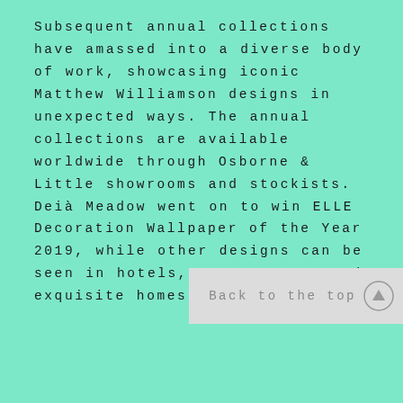Subsequent annual collections have amassed into a diverse body of work, showcasing iconic Matthew Williamson designs in unexpected ways. The annual collections are available worldwide through Osborne & Little showrooms and stockists. Deià Meadow went on to win ELLE Decoration Wallpaper of the Year 2019, while other designs can be seen in hotels, restaurants, and exquisite homes around the world.
Back to the top